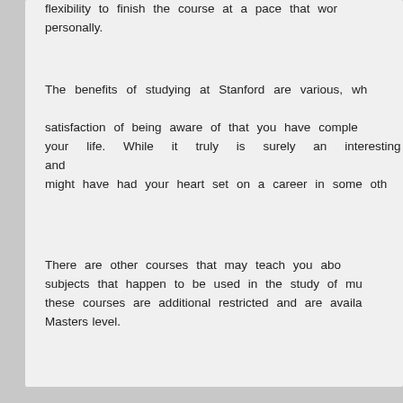flexibility to finish the course at a pace that works for you personally.
The benefits of studying at Stanford are various, wh… satisfaction of being aware of that you have comple… your life. While it truly is surely an interesting and … might have had your heart set on a career in some oth…
There are other courses that may teach you abo… subjects that happen to be used in the study of mu… these courses are additional restricted and are availa… Masters level.
This entry was posted on Friday, February 21st, 2020 … Rules Quiz. You can follow any responses to this entry… Both comments and pings are currently closed.
Comments are closed.
Rebel Racing Quiz based on Dave Perry's Book is proud… Entries (RSS) and Comments (RS…